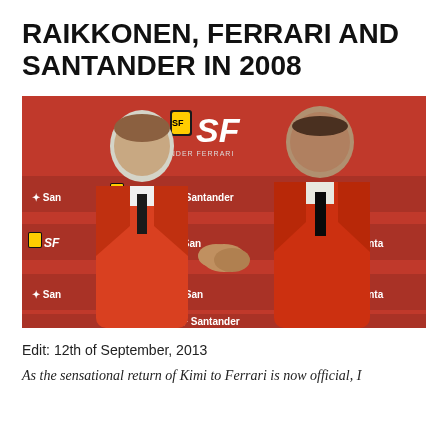RAIKKONEN, FERRARI AND SANTANDER IN 2008
[Figure (photo): Two men in red jackets shaking hands in front of a red Ferrari-Santander branded backdrop. Both are smiling. The backdrop shows repeated Ferrari shield logos, SF logos, and Santander branding.]
Edit: 12th of September, 2013
As the sensational return of Kimi to Ferrari is now official, I